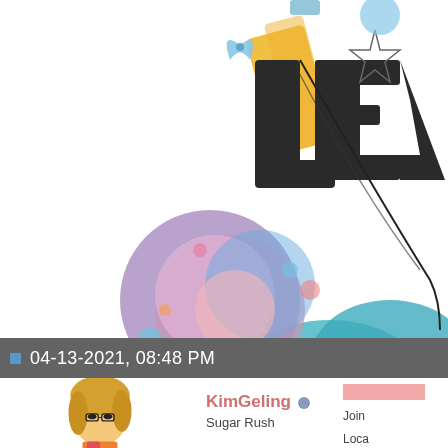[Figure (illustration): Colorful digital scrapbook layout with large decorative letters, patterned paper circles, teal balloon shapes, handwritten journaling text, and the word 'PRONOUNCE' partially visible on the right side.]
using Laura Wilkerson - Siggified Te... & Blagovesta Gosheva - A month in re...
04-13-2021, 08:48 PM
[Figure (illustration): Cartoon avatar of a blonde woman wearing glasses, with an orange and pink scarf, drawn in a stylized comic/illustration style.]
KimGeling
Sugar Rush
Join
Loca
Pos...